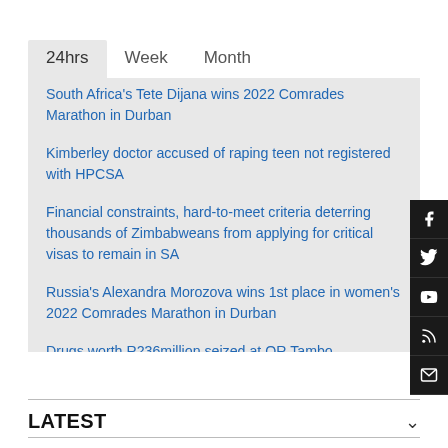24hrs   Week   Month
South Africa's Tete Dijana wins 2022 Comrades Marathon in Durban
Kimberley doctor accused of raping teen not registered with HPCSA
Financial constraints, hard-to-meet criteria deterring thousands of Zimbabweans from applying for critical visas to remain in SA
Russia's Alexandra Morozova wins 1st place in women's 2022 Comrades Marathon in Durban
Drugs worth R236million seized at OR Tambo
LATEST